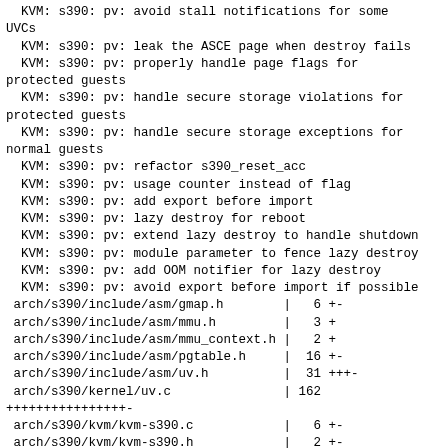KVM: s390: pv: avoid stall notifications for some UVCs
KVM: s390: pv: leak the ASCE page when destroy fails
KVM: s390: pv: properly handle page flags for protected guests
KVM: s390: pv: handle secure storage violations for protected guests
KVM: s390: pv: handle secure storage exceptions for normal guests
KVM: s390: pv: refactor s390_reset_acc
KVM: s390: pv: usage counter instead of flag
KVM: s390: pv: add export before import
KVM: s390: pv: lazy destroy for reboot
KVM: s390: pv: extend lazy destroy to handle shutdown
KVM: s390: pv: module parameter to fence lazy destroy
KVM: s390: pv: add OOM notifier for lazy destroy
KVM: s390: pv: avoid export before import if possible
| File | | | Changes |
| --- | --- | --- |
| arch/s390/include/asm/gmap.h | | | 6 +- |
| arch/s390/include/asm/mmu.h | | | 3 + |
| arch/s390/include/asm/mmu_context.h | | | 2 + |
| arch/s390/include/asm/pgtable.h | | | 16 +- |
| arch/s390/include/asm/uv.h | | | 31 +++- |
| arch/s390/kernel/uv.c | | | 162 |
| ++++++++++++++++- |  |  |
| arch/s390/kvm/kvm-s390.c | | | 6 +- |
| arch/s390/kvm/kvm-s390.h | | | 2 +- |
| arch/s390/kvm/pv.c | | | 223 |
| +++++++++++++++++++++++++-- |  |  |
| arch/s390/mm/fault.c | | | 20 ++- |